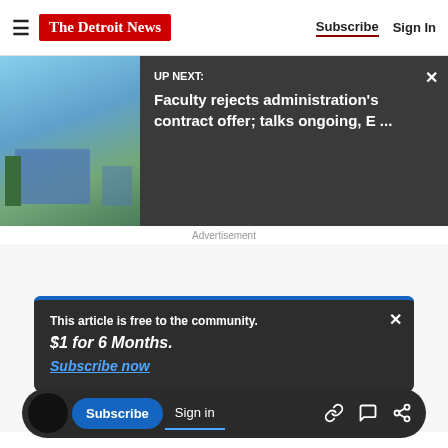The Detroit News — Subscribe | Sign In
UP NEXT: Faculty rejects administration's contract offer; talks ongoing, E ...
Advertisement
This article is free to the community.
$1 for 6 Months.
Subscribe now
Subscribe  Sign in